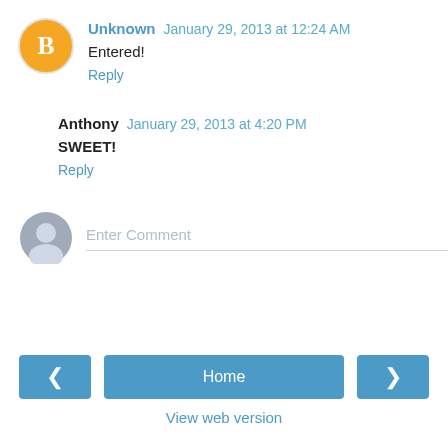Unknown  January 29, 2013 at 12:24 AM
Entered!
Reply
Anthony  January 29, 2013 at 4:20 PM
SWEET!
Reply
Enter Comment
Home
View web version